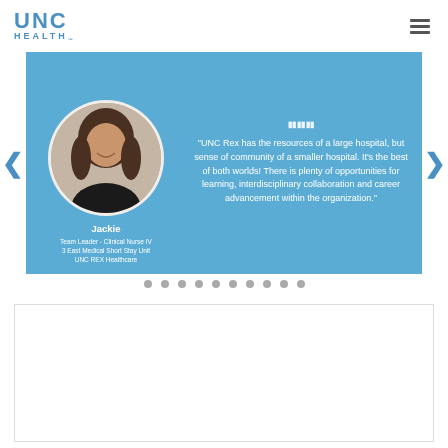UNC HEALTH
[Figure (photo): UNC Health website screenshot showing a testimonial slider with photo of Jackie, Team Leader - Clinical Nurse IV, 3 East Medical Short Stay Unit, UNC REX Healthcare. Quote: 'UNC Rex has the resources of a large hospital, but sense of community of a smaller hospital. It's the best of both worlds! There is plenty of opportunities for learning, interdisciplinary collaboration and career advancement within the organization.']
Jackie
Team Leader - Clinical Nurse IV
3 East Medical Short Stay Unit
UNC REX Healthcare
"UNC Rex has the resources of a large hospital, but sense of community of a smaller hospital. It's the best of both worlds! There is plenty of opportunities for learning, interdisciplinary collaboration and career advancement within the organization."
[Figure (screenshot): Empty white content area with light border below the testimonial slider]